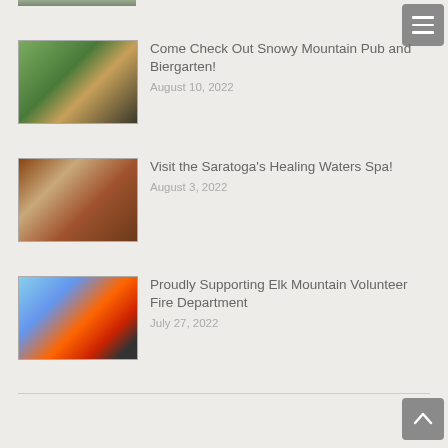[Figure (photo): Partial top strip of a photo (cropped)]
[Figure (other): Navigation menu hamburger button (top right)]
[Figure (photo): Food/drink photo thumbnail for Snowy Mountain Pub and Biergarten article]
Come Check Out Snowy Mountain Pub and Biergarten!
August 10, 2022
[Figure (photo): Spa massage bed photo thumbnail for Saratoga's Healing Waters Spa article]
Visit the Saratoga's Healing Waters Spa!
August 3, 2022
[Figure (photo): Firefighters with fire in background photo thumbnail for Elk Mountain Volunteer Fire Department article]
Proudly Supporting Elk Mountain Volunteer Fire Department
July 27, 2022
[Figure (other): Scroll-to-top arrow button (bottom right)]